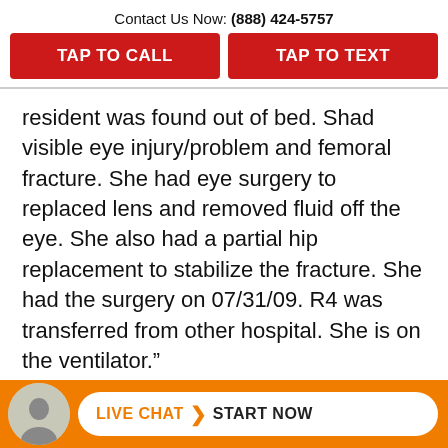Contact Us Now: (888) 424-5757
TAP TO CALL | TAP TO TEXT
resident was found out of bed. Shad visible eye injury/problem and femoral fracture. She had eye surgery to replaced lens and removed fluid off the eye. She also had a partial hip replacement to stabilize the fracture. She had the surgery on 07/31/09. R4 was transferred from other hospital. She is on the ventilator.”
Failure to provide adequate